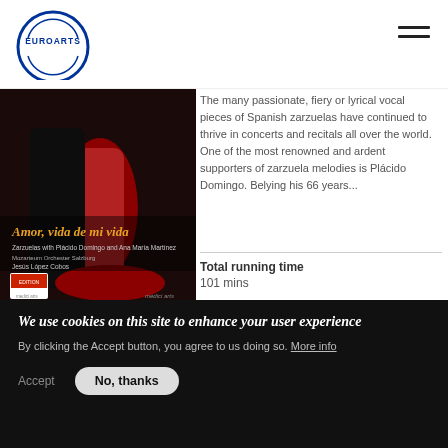EuroArts
[Figure (photo): Album cover for 'Amor, vida de mi vida' featuring a couple dancing, with text: Zarzuelas with Plácido Domingo and Ana María Martínez, Mozarteum Orchester Salzburg, Jesús López Cobos. Medici Arts label.]
The many passionate, fiery or lyrical vocal pieces of Spanish zarzuelas have continued to thrive in concerts and recitals all over the world. One of the most renowned and ardent supporters of zarzuela melodies is Plácido Domingo. Belying his 66 years...
Total running time
101 mins
[Figure (photo): Album thumbnail for András Schiff plays Bach, partially visible, green/dark tones.]
András Schiff plays Bach
Suites, Partitas, French Suites, and...
We use cookies on this site to enhance your user experience
By clicking the Accept button, you agree to us doing so. More info
Accept    No, thanks